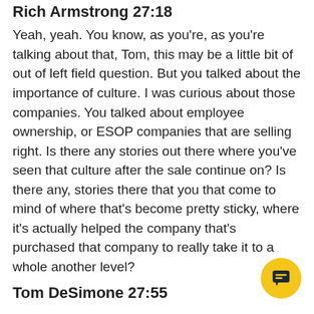Rich Armstrong 27:18
Yeah, yeah. You know, as you're, as you're talking about that, Tom, this may be a little bit of out of left field question. But you talked about the importance of culture. I was curious about those companies. You talked about employee ownership, or ESOP companies that are selling right. Is there any stories out there where you've seen that culture after the sale continue on? Is there any, stories there that you that come to mind of where that's become pretty sticky, where it's actually helped the company that's purchased that company to really take it to a whole another level?
Tom DeSimone 27:55